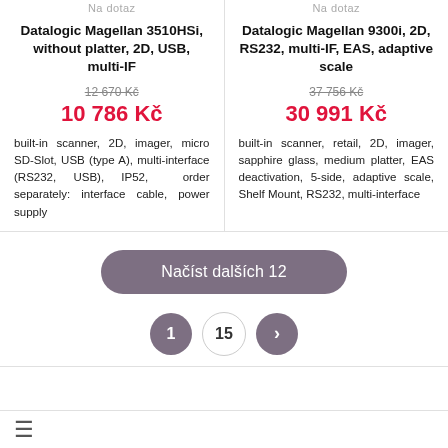Na dotaz   Na dotaz
Datalogic Magellan 3510HSi, without platter, 2D, USB, multi-IF
Datalogic Magellan 9300i, 2D, RS232, multi-IF, EAS, adaptive scale
12 670 Kč
10 786 Kč
37 756 Kč
30 991 Kč
built-in scanner, 2D, imager, micro SD-Slot, USB (type A), multi-interface (RS232, USB), IP52, order separately: interface cable, power supply
built-in scanner, retail, 2D, imager, sapphire glass, medium platter, EAS deactivation, 5-side, adaptive scale, Shelf Mount, RS232, multi-interface
Načíst dalších 12
1   15   >